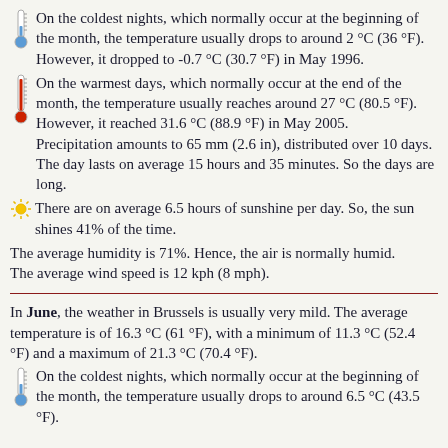On the coldest nights, which normally occur at the beginning of the month, the temperature usually drops to around 2 °C (36 °F). However, it dropped to -0.7 °C (30.7 °F) in May 1996.
On the warmest days, which normally occur at the end of the month, the temperature usually reaches around 27 °C (80.5 °F). However, it reached 31.6 °C (88.9 °F) in May 2005. Precipitation amounts to 65 mm (2.6 in), distributed over 10 days. The day lasts on average 15 hours and 35 minutes. So the days are long.
There are on average 6.5 hours of sunshine per day. So, the sun shines 41% of the time.
The average humidity is 71%. Hence, the air is normally humid. The average wind speed is 12 kph (8 mph).
In June, the weather in Brussels is usually very mild. The average temperature is of 16.3 °C (61 °F), with a minimum of 11.3 °C (52.4 °F) and a maximum of 21.3 °C (70.4 °F).
On the coldest nights, which normally occur at the beginning of the month, the temperature usually drops to around 6.5 °C (43.5 °F).